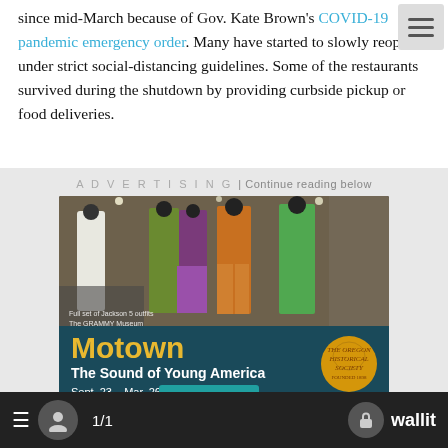since mid-March because of Gov. Kate Brown's COVID-19 pandemic emergency order. Many have started to slowly reopen under strict social-distancing guidelines. Some of the restaurants survived during the shutdown by providing curbside pickup or food deliveries.
[Figure (photo): Advertisement for 'Motown: The Sound of Young America' at The Oregon Historical Society (Sept. 23 – Mar. 26), featuring a photo of colorful Jackson 5 outfits displayed at The GRAMMY Museum, and a PLAN YOUR VISIT button.]
☰  [user icon]  1/1  [lock icon] wallit